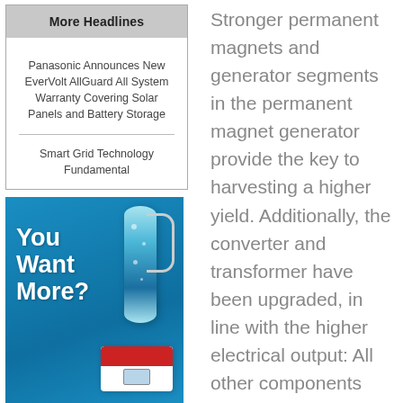More Headlines
Panasonic Announces New EverVolt AllGuard All System Warranty Covering Solar Panels and Battery Storage
Smart Grid Technology Fundamental
[Figure (photo): Advertisement showing a glowing blue cylinder/hydrogen canister, a gas pump nozzle, and a red-and-white gas analysis device. Text reads 'You Want More?' with a caption 'Efficient Solution for Gas Analysis With OmniStar GSD 350']
Efficient Solution for Gas Analysis With OmniStar GSD 350
Stronger permanent magnets and generator segments in the permanent magnet generator provide the key to harvesting a higher yield. Additionally, the converter and transformer have been upgraded, in line with the higher electrical output: All other components remain the same tried and proven engineering of the 6-MW wind turbine, giving